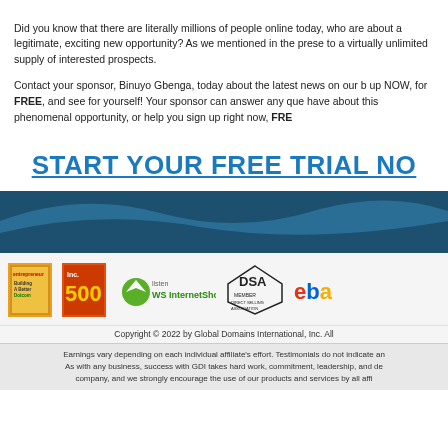Did you know that there are literally millions of people online today, who are about a legitimate, exciting new opportunity? As we mentioned in the presentation, to a virtually unlimited supply of interested prospects.
Contact your sponsor, Binuyo Gbenga, today about the latest news on our k up NOW, for FREE, and see for yourself! Your sponsor can answer any questions you have about this phenomenal opportunity, or help you sign up right now, FREE.
START YOUR FREE TRIAL NOW
[Figure (logo): Logos row: Entrepreneur Building a Better Dotcom book, Inc 500 magazine, WS InternetShow.ws, DSA Member Direct Selling Association, eBay logo]
Copyright © 2022 by Global Domains International, Inc. All
Earnings vary depending on each individual affiliate's effort. Testimonials do not indicate an average result. As with any business, success with GDI takes hard work, commitment, leadership, and dedication to the company, and we strongly encourage the use of our products and services by all affiliates.